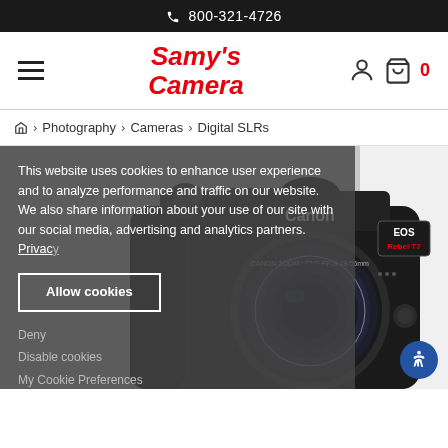800-321-4726
[Figure (logo): Samy's Camera logo in red italic text]
Photography > Cameras > Digital SLRs
This website uses cookies to enhance user experience and to analyze performance and traffic on our website. We also share information about your use of our site with our social media, advertising and analytics partners. Privacy
Allow cookies
[Figure (photo): Canon EOS Rebel T7 DSLR camera with Canon Zoom Lens EF-S 18-55mm f/3.5-5.6 IS II]